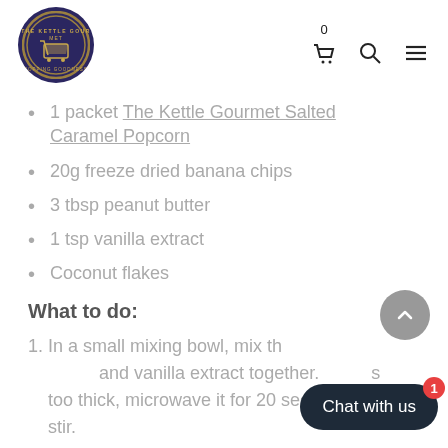The Kettle Gourmet logo and navigation icons (cart: 0, search, menu)
1 packet The Kettle Gourmet Salted Caramel Popcorn
20g freeze dried banana chips
3 tbsp peanut butter
1 tsp vanilla extract
Coconut flakes
What to do:
1. In a small mixing bowl, mix th… and vanilla extract together. … too thick, microwave it for 20 seconds and stir.